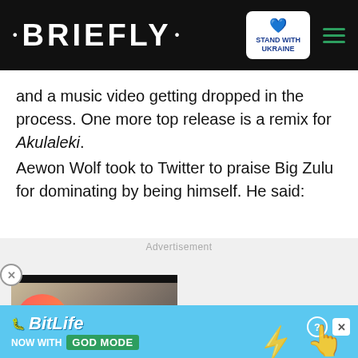• BRIEFLY •
and a music video getting dropped in the process. One more top release is a remix for Akulaleki.
Aewon Wolf took to Twitter to praise Big Zulu for dominating by being himself. He said:
Advertisement
[Figure (screenshot): Video advertisement thumbnail showing two people with text 'SHE HAS CAPTURED MY HEART' on an orange/red speech bubble, with a play button in the center. Below is a red chevron/down button.]
[Figure (screenshot): BitLife banner advertisement with blue background, sperm icon, BitLife logo in italic, text 'NOW WITH GOD MODE', help and close icons, and decorative hand/finger graphics.]